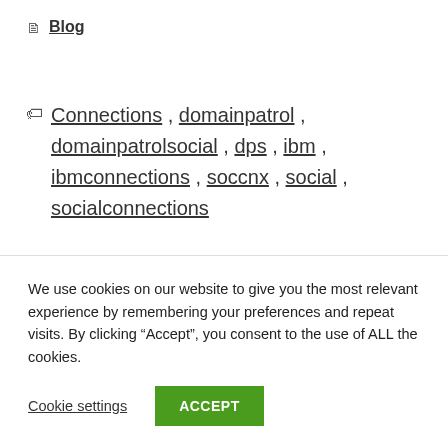Blog
Connections, domainpatrol, domainpatrolsocial, dps, ibm, ibmconnections, soccnx, social, socialconnections
Infoware is heading off to
We use cookies on our website to give you the most relevant experience by remembering your preferences and repeat visits. By clicking “Accept”, you consent to the use of ALL the cookies.
Cookie settings
ACCEPT